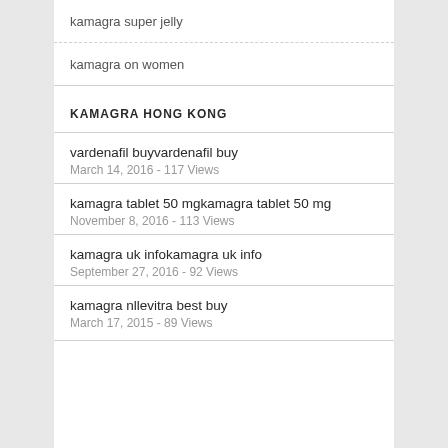kamagra super jelly
kamagra on women
KAMAGRA HONG KONG
vardenafil buyvardenafil buy
March 14, 2016 - 117 Views
kamagra tablet 50 mgkamagra tablet 50 mg
November 8, 2016 - 113 Views
kamagra uk infokamagra uk info
September 27, 2016 - 92 Views
kamagra nllevitra best buy
March 17, 2015 - 89 Views